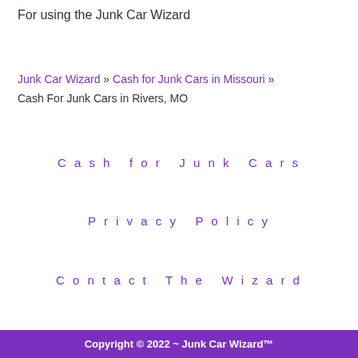For using the Junk Car Wizard
Junk Car Wizard » Cash for Junk Cars in Missouri » Cash For Junk Cars in Rivers, MO
Cash for Junk Cars
Privacy Policy
Contact The Wizard
Copyright © 2022 ~ Junk Car Wizard™